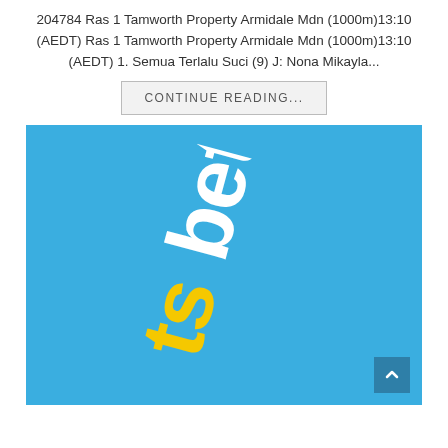204784 Ras 1 Tamworth Property Armidale Mdn (1000m)13:10 (AEDT) Ras 1 Tamworth Property Armidale Mdn (1000m)13:10 (AEDT) 1. Semua Terlalu Suci (9) J: Nona Mikayla...
CONTINUE READING...
[Figure (logo): TSBet logo on blue background with yellow and white stylized text rotated diagonally]